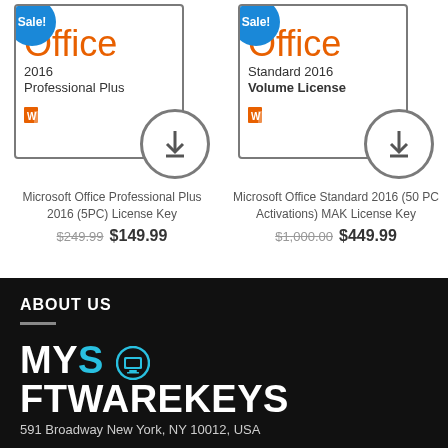[Figure (illustration): Microsoft Office 2016 Professional Plus product box with Sale badge and download circle icon]
Microsoft Office Professional Plus 2016 (5PC) License Key
$249.99  $149.99
[Figure (illustration): Microsoft Office Standard 2016 Volume License product box with Sale badge and download circle icon]
Microsoft Office Standard 2016 (50 PC Activations) MAK License Key
$1,000.00  $449.99
ABOUT US
MYSOFTWAREKEYS
591 Broadway New York, NY 10012, USA